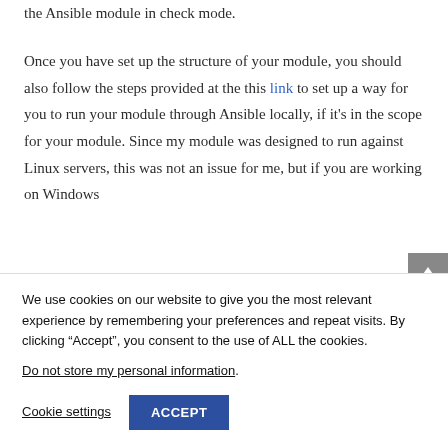the Ansible module in check mode.
Once you have set up the structure of your module, you should also follow the steps provided at the this link to set up a way for you to run your module through Ansible locally, if it's in the scope for your module. Since my module was designed to run against Linux servers, this was not an issue for me, but if you are working on Windows
We use cookies on our website to give you the most relevant experience by remembering your preferences and repeat visits. By clicking “Accept”, you consent to the use of ALL the cookies.
Do not store my personal information.
Cookie settings
ACCEPT